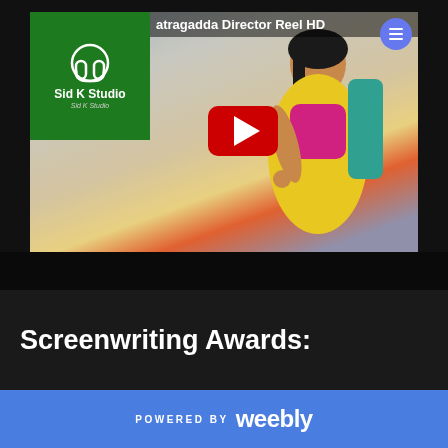[Figure (screenshot): YouTube video thumbnail showing a woman in a yellow and pink saree, with a green Sid K Studio overlay in the top-left corner showing a headphone logo, and a red YouTube play button in the center. The video title reads 'atragadda Director Reel HD'. A blue circular hamburger menu button is visible in the top-right.]
Screenwriting Awards:
POWERED BY weebly